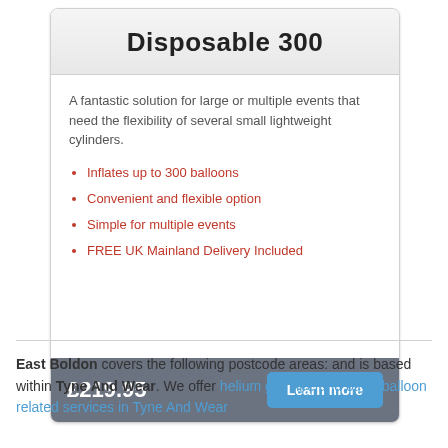Disposable 300
A fantastic solution for large or multiple events that need the flexibility of several small lightweight cylinders.
Inflates up to 300 balloons
Convenient and flexible option
Simple for multiple events
FREE UK Mainland Delivery Included
£219.95
East Boldon covers the following postcode areas: and is based within Tyne And Wear. We offer helium gas hire and other balloon related services in Tyne And Wear